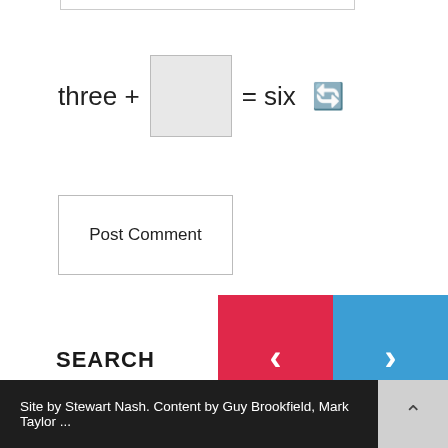[Figure (screenshot): CAPTCHA widget showing 'three + [input box] = six' with a refresh icon]
[Figure (screenshot): Post Comment button with border]
[Figure (screenshot): Navigation previous (red) and next (blue) arrow buttons]
SEARCH
Site by Stewart Nash. Content by Guy Brookfield, Mark Taylor ...